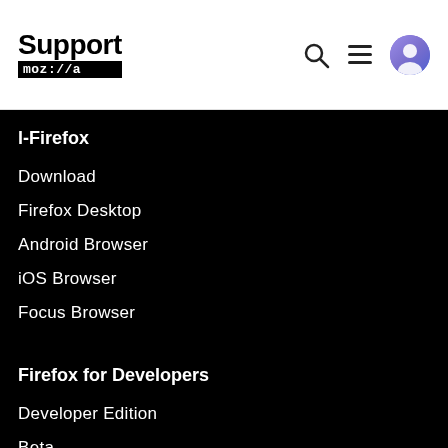Support moz://a
l-Firefox
Download
Firefox Desktop
Android Browser
iOS Browser
Focus Browser
Firefox for Developers
Developer Edition
Beta